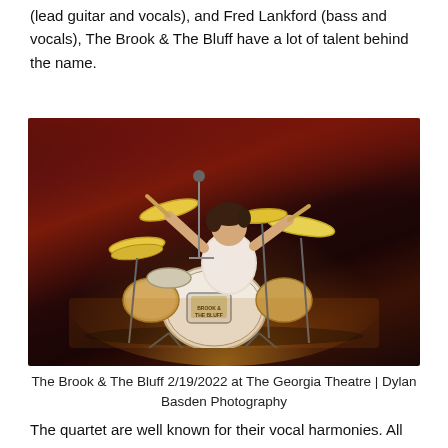(lead guitar and vocals), and Fred Lankford (bass and vocals), The Brook & The Bluff have a lot of talent behind the name.
[Figure (photo): A drummer performing on stage with dramatic red and amber concert lighting. The bass drum has 'The Brook & The Bluff' branding. Photo taken at The Georgia Theatre on 2/19/2022.]
The Brook & The Bluff 2/19/2022 at The Georgia Theatre | Dylan Basden Photography
The quartet are well known for their vocal harmonies. All